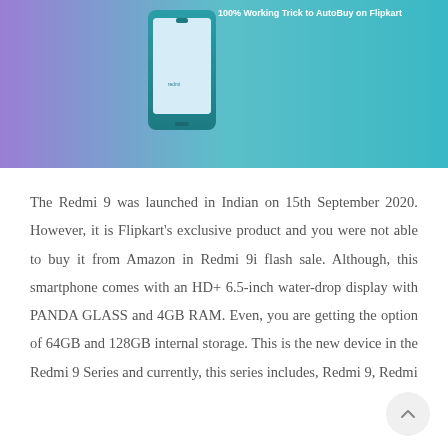[Figure (photo): A smartphone (Redmi 9i) displayed against a teal/blue-purple gradient background with text '100% Working Trick to AutoBuy on Flipkart' visible at the top.]
The Redmi 9 was launched in Indian on 15th September 2020. However, it is Flipkart's exclusive product and you were not able to buy it from Amazon in Redmi 9i flash sale. Although, this smartphone comes with an HD+ 6.5-inch water-drop display with PANDA GLASS and 4GB RAM. Even, you are getting the option of 64GB and 128GB internal storage. This is the new device in the Redmi 9 Series and currently, this series includes, Redmi 9, Redmi